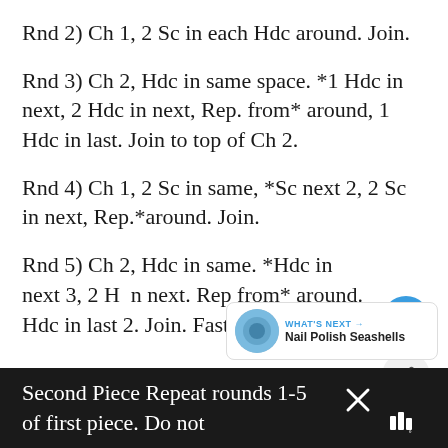Rnd 2) Ch 1, 2 Sc in each Hdc around. Join.
Rnd 3) Ch 2, Hdc in same space. *1 Hdc in next, 2 Hdc in next, Rep. from* around, 1 Hdc in last. Join to top of Ch 2.
Rnd 4) Ch 1, 2 Sc in same, *Sc next 2, 2 Sc in next, Rep.*around. Join.
Rnd 5) Ch 2, Hdc in same. *Hdc in next 3, 2 H dc in next. Rep from* around. Hdc in last 2. Join. Fasten off.
Second Piece Repeat rounds 1-5 of first piece. Do not